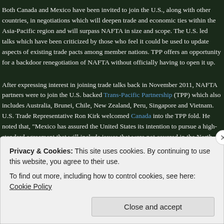Both Canada and Mexico have been invited to join the U.S., along with other countries, in negotiations which will deepen trade and economic ties within the Asia-Pacific region and will surpass NAFTA in size and scope. The U.S. led talks which have been criticized by those who feel it could be used to update aspects of existing trade pacts among member nations. TPP offers an opportunity for a backdoor renegotiation of NAFTA without officially having to open it up.
After expressing interest in joining trade talks back in November 2011, NAFTA partners were to join the U.S. backed Trans-Pacific Partnership (TPP) which also includes Australia, Brunei, Chile, New Zealand, Peru, Singapore and Vietnam. U.S. Trade Representative Ron Kirk welcomed Canada into the TPP fold. He noted that, "Mexico has assured the United States its intention to pursue a high-standard agreement that will include issues that were not covered in the North American Free Trade Agreement (NAFTA)." He added, "Inviting Canada to join the TPP negotiations provides an opportunity for the United States to build upon this already dynamic trading relationship. Through TPP we can update our relationship with our largest trading partner into the 21st century." A joint statement acknowledged that, "The TPP presents an opportunity to conclude a high standard agreement that builds on the commitments of NAFTA."
Privacy & Cookies: This site uses cookies. By continuing to use this website, you agree to their use.
To find out more, including how to control cookies, see here: Cookie Policy